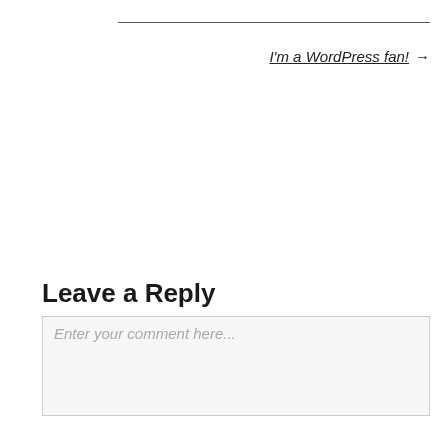I'm a WordPress fan! →
Leave a Reply
Enter your comment here...